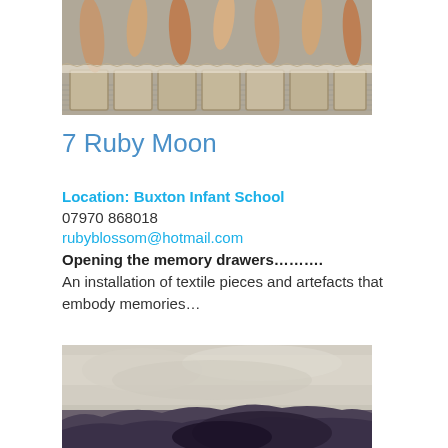[Figure (photo): Close-up photo of textile/fabric pieces with feathers and woven materials arranged in a row]
7 Ruby Moon
Location: Buxton Infant School
07970 868018
rubyblossom@hotmail.com
Opening the memory drawers..........
An installation of textile pieces and artefacts that embody memories...
[Figure (photo): A landscape painting or artwork with muted tones showing a misty or stormy scene with dark ground and pale sky]